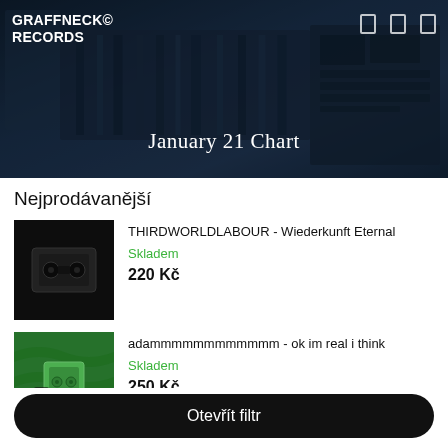GRAFFNECK© RECORDS
January 21 Chart
Nejprodávanější
THIRDWORLDLABOUR - Wiederkunft Eternal
Skladem
220 Kč
adammmmmmmmmmmm - ok im real i think
Skladem
250 Kč
Otevřít filtr